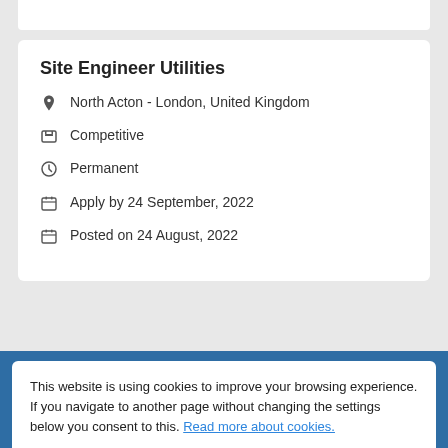Site Engineer Utilities
North Acton - London, United Kingdom
Competitive
Permanent
Apply by 24 September, 2022
Posted on 24 August, 2022
This website is using cookies to improve your browsing experience. If you navigate to another page without changing the settings below you consent to this. Read more about cookies.
Turn cookies on
Turn cookies off